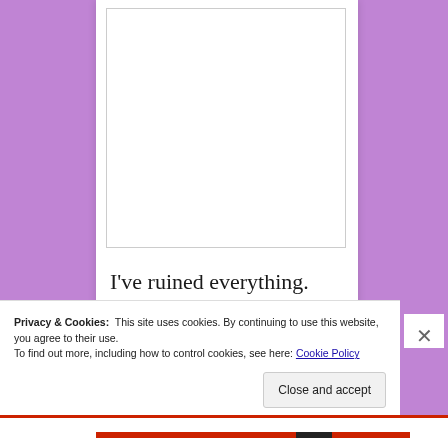[Figure (illustration): White rectangular book cover placeholder with light gray border, set against a purple background]
I've ruined everything.
I've broken the cardinal rule and fallen in love with my fake wife.
Privacy & Cookies: This site uses cookies. By continuing to use this website, you agree to their use. To find out more, including how to control cookies, see here: Cookie Policy
Close and accept